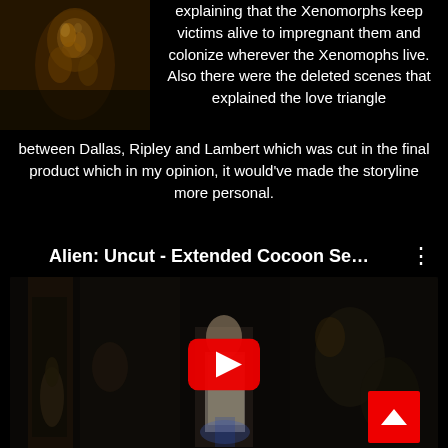[Figure (photo): Dark thumbnail image showing a figure covered in amber/gold alien cocoon material against dark background]
explaining that the Xenomorphs keep victims alive to impregnant them and colonize wherever the Xenomophs live. Also there were the deleted scenes that explained the love triangle between Dallas, Ripley and Lambert which was cut in the final product which in my opinion, it would've made the storyline more personal.
Alien: Uncut - Extended Cocoon Se…
[Figure (screenshot): YouTube video thumbnail showing a dark scene from Alien film with a character visible, YouTube play button overlay in center, and red scroll-to-top button in bottom right corner]